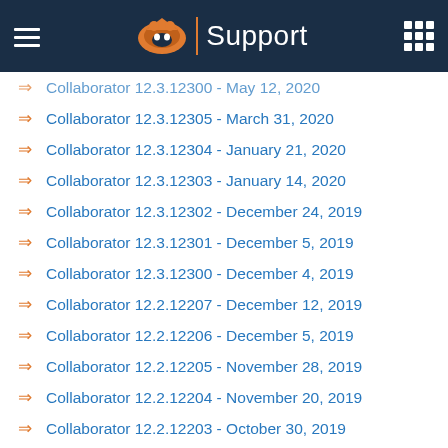Support
Collaborator 12.3.12300 - May 12, 2020
Collaborator 12.3.12305 - March 31, 2020
Collaborator 12.3.12304 - January 21, 2020
Collaborator 12.3.12303 - January 14, 2020
Collaborator 12.3.12302 - December 24, 2019
Collaborator 12.3.12301 - December 5, 2019
Collaborator 12.3.12300 - December 4, 2019
Collaborator 12.2.12207 - December 12, 2019
Collaborator 12.2.12206 - December 5, 2019
Collaborator 12.2.12205 - November 28, 2019
Collaborator 12.2.12204 - November 20, 2019
Collaborator 12.2.12203 - October 30, 2019
Collaborator 12.2.12202 - October 22, 2019